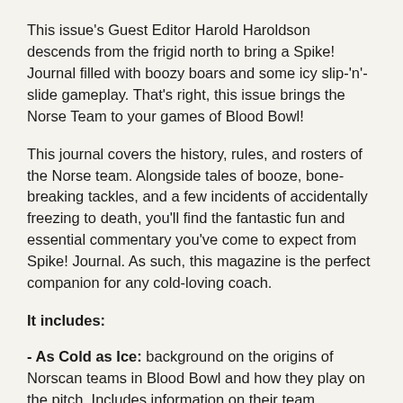This issue's Guest Editor Harold Haroldson descends from the frigid north to bring a Spike! Journal filled with boozy boars and some icy slip-'n'-slide gameplay. That's right, this issue brings the Norse Team to your games of Blood Bowl!
This journal covers the history, rules, and rosters of the Norse team. Alongside tales of booze, bone-breaking tackles, and a few incidents of accidentally freezing to death, you'll find the fantastic fun and essential commentary you've come to expect from Spike! Journal. As such, this magazine is the perfect companion for any cold-loving coach.
It includes:
- As Cold as Ice: background on the origins of Norscan teams in Blood Bowl and how they play on the pitch. Includes information on their team positions, star players, and a team roster.
- Famous Norse Teams: descriptions and background on some